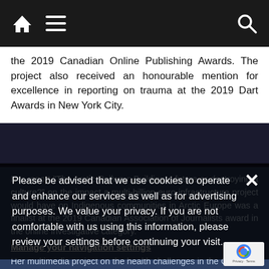Navigation bar with home, menu, and search icons
the 2019 Canadian Online Publishing Awards. The project also received an honourable mention for excellence in reporting on trauma at the 2019 Dart Awards in New York City.
Her report "The Arctic Railway: Building a future or destroying a culture?" on the impact a multi-billion euro infrastructure project would have on Indigenous communities in Arctic Europe was a finalist at the 2019 Canadian Association of Journalists award in the online investigative category.
Please be advised that we use cookies to operate and enhance our services as well as for advertising purposes. We value your privacy. If you are not comfortable with us using this information, please review your settings before continuing your visit.
Manage your navigation settings
Her multimedia project on the health challenges in the Canadian Arctic, "Bridging the Divide," was a finalist at the 2012 Webby Awards.
Find out more